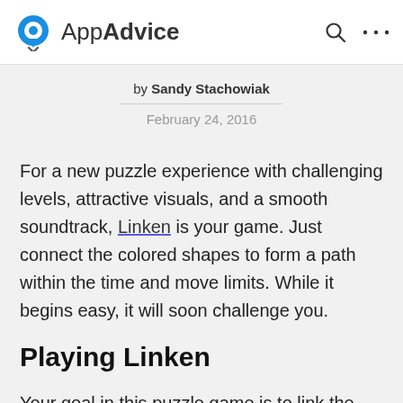AppAdvice
by Sandy Stachowiak
February 24, 2016
For a new puzzle experience with challenging levels, attractive visuals, and a smooth soundtrack, Linken is your game. Just connect the colored shapes to form a path within the time and move limits. While it begins easy, it will soon challenge you.
Playing Linken
Your goal in this puzzle game is to link the same colored shapes together with a single path. You will be challenged when additional shapes and connectors are added, but your